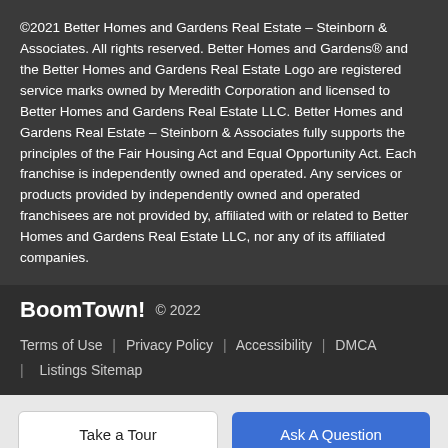©2021 Better Homes and Gardens Real Estate – Steinborn & Associates. All rights reserved. Better Homes and Gardens® and the Better Homes and Gardens Real Estate Logo are registered service marks owned by Meredith Corporation and licensed to Better Homes and Gardens Real Estate LLC. Better Homes and Gardens Real Estate – Steinborn & Associates fully supports the principles of the Fair Housing Act and Equal Opportunity Act. Each franchise is independently owned and operated. Any services or products provided by independently owned and operated franchisees are not provided by, affiliated with or related to Better Homes and Gardens Real Estate LLC, nor any of its affiliated companies.
BoomTown! © 2022
Terms of Use | Privacy Policy | Accessibility | DMCA | Listings Sitemap
Take a Tour
Ask A Question